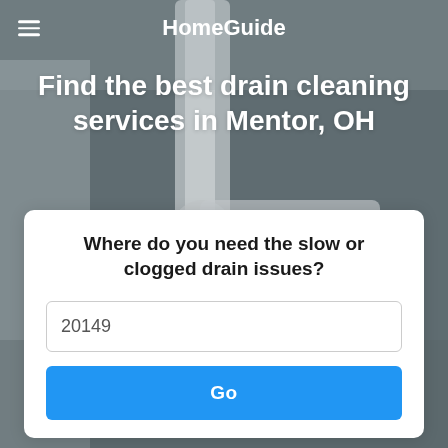HomeGuide
Find the best drain cleaning services in Mentor, OH
[Figure (screenshot): Background photo of plumbing/drain pipes under a sink, with a dark gray overlay]
Where do you need the slow or clogged drain issues?
20149
Go